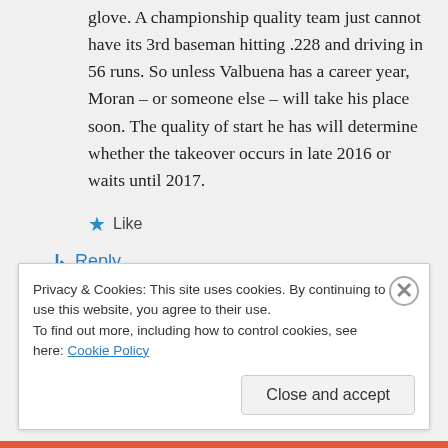glove. A championship quality team just cannot have its 3rd baseman hitting .228 and driving in 56 runs. So unless Valbuena has a career year, Moran – or someone else – will take his place soon. The quality of start he has will determine whether the takeover occurs in late 2016 or waits until 2017.
★ Like
↳ Reply
Privacy & Cookies: This site uses cookies. By continuing to use this website, you agree to their use.
To find out more, including how to control cookies, see here: Cookie Policy